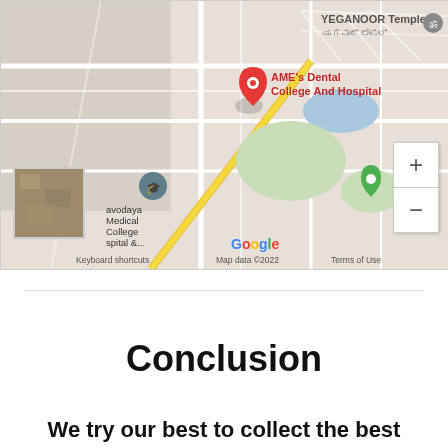[Figure (map): Google Maps screenshot showing AME's Dental College And Hospital location marker (red pin) near Yeganoor Temple, with Blue Heaven swimming pool and Navodaya Medical College Hospital & visible. Zoom controls shown on right, Google logo and attribution at bottom. A satellite thumbnail inset shown bottom-left.]
Conclusion
We try our best to collect the best